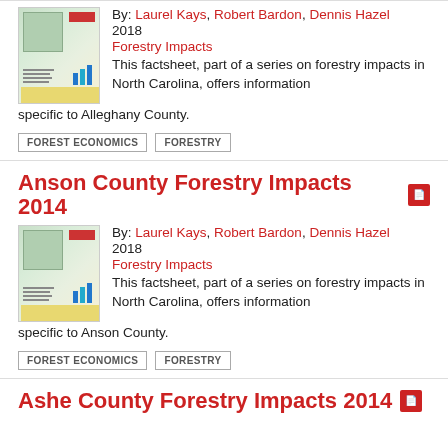[Figure (illustration): Thumbnail image of a forestry factsheet document for Alleghany County showing a map, chart, and data tables]
By: Laurel Kays, Robert Bardon, Dennis Hazel
2018
Forestry Impacts
This factsheet, part of a series on forestry impacts in North Carolina, offers information specific to Alleghany County.
FOREST ECONOMICS
FORESTRY
Anson County Forestry Impacts 2014
[Figure (illustration): Thumbnail image of a forestry factsheet document for Anson County showing a map, chart, and data tables]
By: Laurel Kays, Robert Bardon, Dennis Hazel
2018
Forestry Impacts
This factsheet, part of a series on forestry impacts in North Carolina, offers information specific to Anson County.
FOREST ECONOMICS
FORESTRY
Ashe County Forestry Impacts 2014